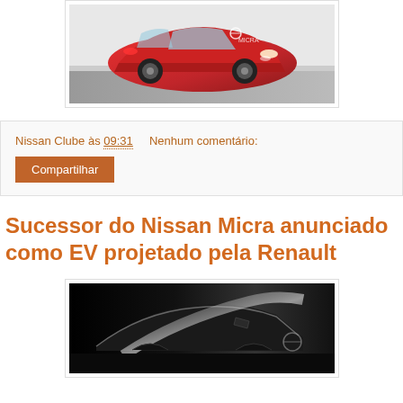[Figure (photo): Red Nissan Micra car photographed from the front-side angle on a road]
Nissan Clube às 09:31   Nenhum comentário:
Compartilhar
Sucessor do Nissan Micra anunciado como EV projetado pela Renault
[Figure (photo): Dark teaser photo of a car showing front profile with light streak against black background]